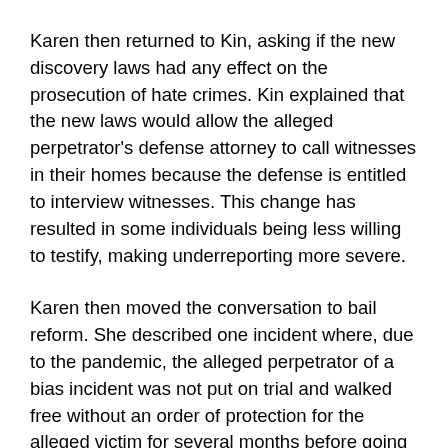Karen then returned to Kin, asking if the new discovery laws had any effect on the prosecution of hate crimes. Kin explained that the new laws would allow the alleged perpetrator's defense attorney to call witnesses in their homes because the defense is entitled to interview witnesses. This change has resulted in some individuals being less willing to testify, making underreporting more severe.
Karen then moved the conversation to bail reform. She described one incident where, due to the pandemic, the alleged perpetrator of a bias incident was not put on trial and walked free without an order of protection for the alleged victim for several months before going to court. Jennvine responded by emphasizing the importance of bail reform and how previous bail laws only gave victims a false sense of security. She also pointed out that orders of protection are typically granted and also tend to only